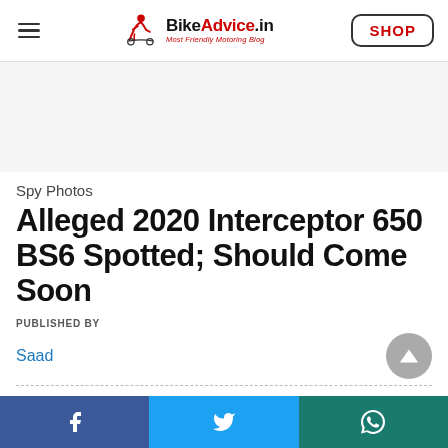BikeAdvice.in — Most Friendly Motoring Blog | SHOP
[Figure (screenshot): Advertisement placeholder area (grey background)]
Spy Photos
Alleged 2020 Interceptor 650 BS6 Spotted; Should Come Soon
PUBLISHED BY
Saad